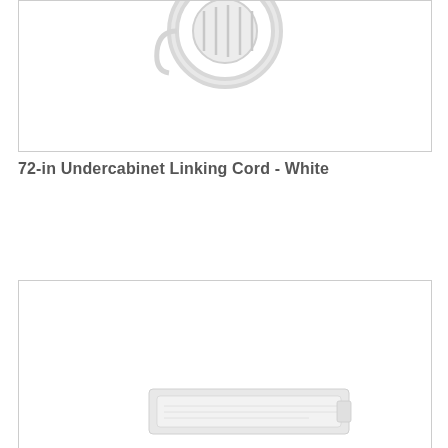[Figure (photo): Product photo of a 72-in Undercabinet Linking Cord in White, showing a coiled white electrical cord connector on a white background, partially visible at the top of the image box.]
72-in Undercabinet Linking Cord - White
[Figure (photo): Product photo of a second undercabinet product (partially visible at the bottom of the page), showing a white flat item at the lower portion of an image box.]